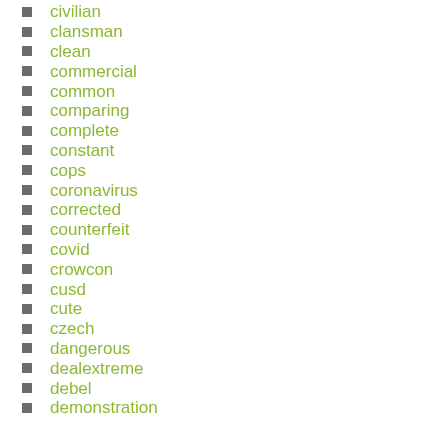civilian
clansman
clean
commercial
common
comparing
complete
constant
cops
coronavirus
corrected
counterfeit
covid
crowcon
cusd
cute
czech
dangerous
dealextreme
debel
demonstration